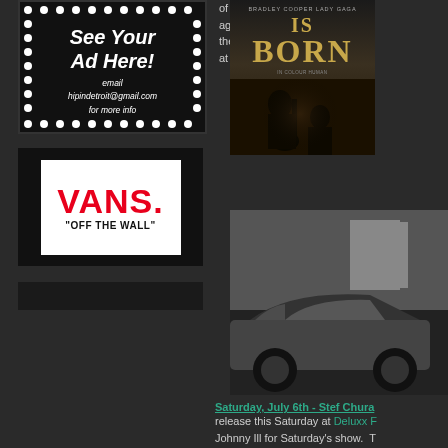[Figure (illustration): Dark advertisement box with white dotted border and text 'See Your Ad Here!' with email hipindetroit@gmail.com for more info]
[Figure (logo): VANS 'OFF THE WALL' logo in red on white background inside black box]
[Figure (photo): Dark small rectangular box]
[Figure (photo): A Star Is Born movie poster showing couple]
of the again, the D a at 8 p.
[Figure (photo): Black and white photo of a car]
Saturday, July 6th - Stef Chura
release this Saturday at Deluxx F Johnny Ill for Saturday's show. T